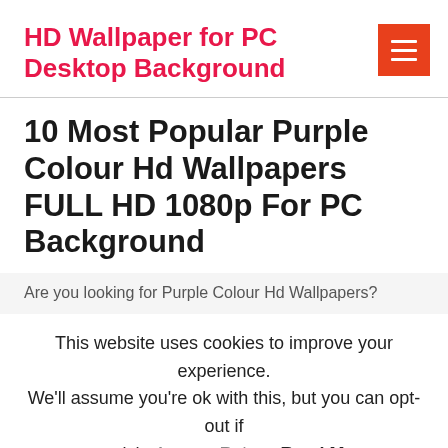HD Wallpaper for PC Desktop Background
10 Most Popular Purple Colour Hd Wallpapers FULL HD 1080p For PC Background
Are you looking for Purple Colour Hd Wallpapers?
This website uses cookies to improve your experience. We'll assume you're ok with this, but you can opt-out if you wish. Accept  Reject  Read More
Privacy & Cookies Policy